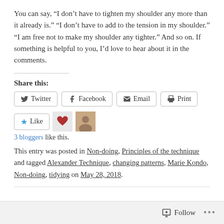You can say, “I don’t have to tighten my shoulder any more than it already is.” “I don’t have to add to the tension in my shoulder.” “I am free not to make my shoulder any tighter.” And so on. If something is helpful to you, I’d love to hear about it in the comments.
Share this:
Twitter  Facebook  Email  Print
Like  3 bloggers like this.
This entry was posted in Non-doing, Principles of the technique and tagged Alexander Technique, changing patterns, Marie Kondo, Non-doing, tidying on May 28, 2018.
Follow  ...